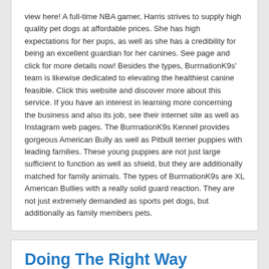view here! A full-time NBA gamer, Harris strives to supply high quality pet dogs at affordable prices. She has high expectations for her pups, as well as she has a credibility for being an excellent guardian for her canines. See page and click for more details now! Besides the types, BurrnationK9s' team is likewise dedicated to elevating the healthiest canine feasible. Click this website and discover more about this service. If you have an interest in learning more concerning the business and also its job, see their internet site as well as Instagram web pages. The BurrnationK9s Kennel provides gorgeous American Bully as well as Pitbull terrier puppies with leading families. These young puppies are not just large sufficient to function as well as shield, but they are additionally matched for family animals. The types of BurrnationK9s are XL American Bullies with a really solid guard reaction. They are not just extremely demanded as sports pet dogs, but additionally as family members pets.
Doing The Right Way
December 16, 2021   Pets & Animals